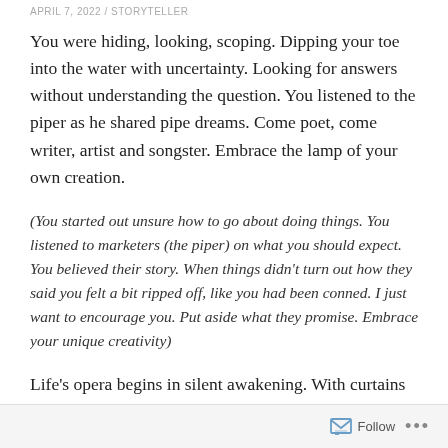APRIL 7, 2022 / STORYTELLER
You were hiding, looking, scoping. Dipping your toe into the water with uncertainty. Looking for answers without understanding the question. You listened to the piper as he shared pipe dreams. Come poet, come writer, artist and songster. Embrace the lamp of your own creation.
(You started out unsure how to go about doing things. You listened to marketers (the piper) on what you should expect. You believed their story. When things didn’t turn out how they said you felt a bit ripped off, like you had been conned. I just want to encourage you. Put aside what they promise. Embrace your unique creativity)
Life’s opera begins in silent awakening. With curtains drawn you’re thrown through blinding light as your opening act begins. Burgeoning onto the stage yet
Follow